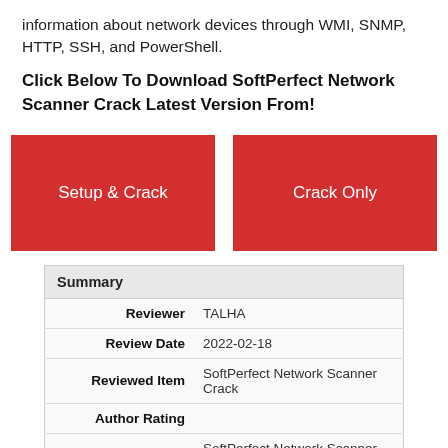information about network devices through WMI, SNMP, HTTP, SSH, and PowerShell.
Click Below To Download SoftPerfect Network Scanner Crack Latest Version From!
[Figure (other): Two red download buttons: 'Setup & Crack' and 'Crack Only']
| Summary |
| --- |
| Reviewer | TALHA |
| Review Date | 2022-02-18 |
| Reviewed Item | SoftPerfect Network Scanner Crack |
| Author Rating |  |
| Software Name | SoftPerfect Network Scanner Crack |
| Software Name | Windows |